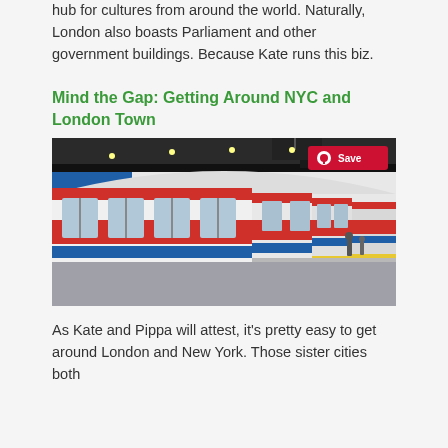hub for cultures from around the world. Naturally, London also boasts Parliament and other government buildings. Because Kate runs this biz.
Mind the Gap: Getting Around NYC and London Town
[Figure (photo): London Underground tube station platform with red and white tube train alongside platform, curved tunnel ceiling, and passengers in background]
As Kate and Pippa will attest, it's pretty easy to get around London and New York. Those sister cities both